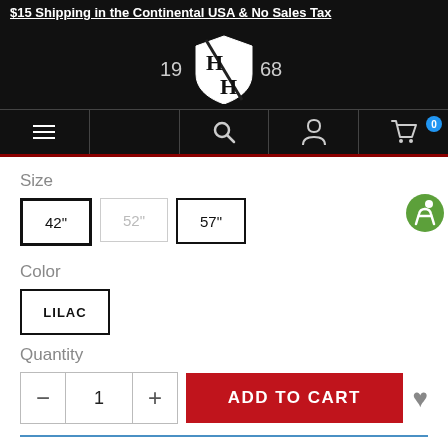$15 Shipping in the Continental USA & No Sales Tax
[Figure (logo): H/H shield logo with years 19 68]
[Figure (screenshot): Navigation bar with hamburger menu, search, account, and cart (0) icons]
Size
42"  52"  57"
Color
LILAC
Quantity
− 1 +   ADD TO CART
Description